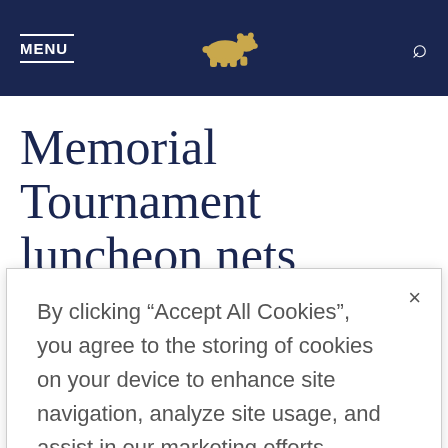MENU [bear logo] [search icon]
Memorial Tournament luncheon nets $250K
By clicking “Accept All Cookies”, you agree to the storing of cookies on your device to enhance site navigation, analyze site usage, and assist in our marketing efforts.